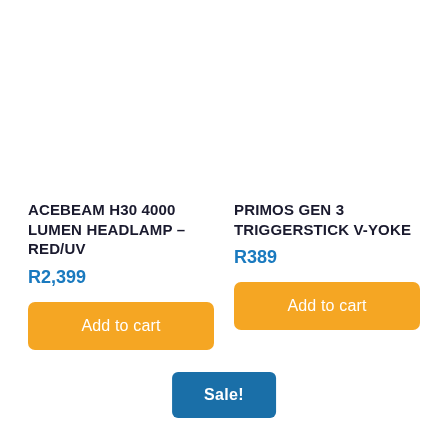ACEBEAM H30 4000 LUMEN HEADLAMP – RED/UV
R2,399
PRIMOS GEN 3 TRIGGERSTICK V-YOKE
R389
Add to cart
Add to cart
Sale!